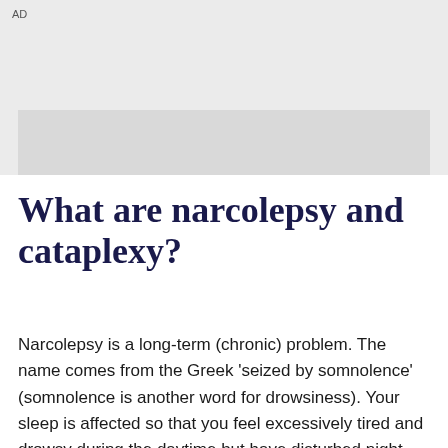AD
[Figure (other): Advertisement banner placeholder area with grey background]
What are narcolepsy and cataplexy?
Narcolepsy is a long-term (chronic) problem. The name comes from the Greek 'seized by somnolence' (somnolence is another word for drowsiness). Your sleep is affected so that you feel excessively tired and drowsy during the daytime but have disturbed night-time sleep. You can also have sleep attacks where you fall asleep during the day without any warning.